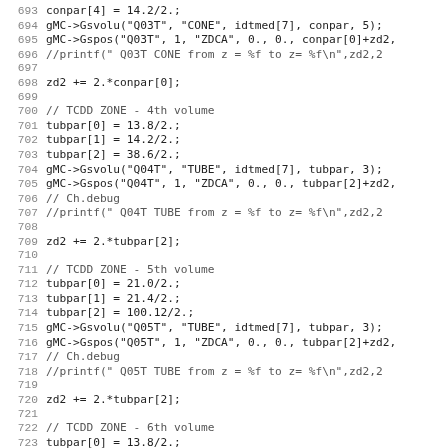Source code listing, lines 693–725, C++ Monte Carlo detector geometry setup code
693    conpar[4] = 14.2/2.;
694    gMC->Gsvolu("Q03T", "CONE", idtmed[7], conpar, 5);
695    gMC->Gspos("Q03T", 1, "ZDCA", 0., 0., conpar[0]+zd2,
696    //printf("    Q03T CONE from z = %f to z= %f\n",zd2,2
697
698    zd2 += 2.*conpar[0];
699
700    // TCDD ZONE - 4th volume
701    tubpar[0] = 13.8/2.;
702    tubpar[1] = 14.2/2.;
703    tubpar[2] = 38.6/2.;
704    gMC->Gsvolu("Q04T", "TUBE", idtmed[7], tubpar, 3);
705    gMC->Gspos("Q04T", 1, "ZDCA", 0., 0., tubpar[2]+zd2,
706    // Ch.debug
707    //printf("    Q04T TUBE from z = %f to z= %f\n",zd2,2
708
709    zd2 += 2.*tubpar[2];
710
711    // TCDD ZONE - 5th volume
712    tubpar[0] = 21.0/2.;
713    tubpar[1] = 21.4/2.;
714    tubpar[2] = 100.12/2.;
715    gMC->Gsvolu("Q05T", "TUBE", idtmed[7], tubpar, 3);
716    gMC->Gspos("Q05T", 1, "ZDCA", 0., 0., tubpar[2]+zd2,
717    // Ch.debug
718    //printf("    Q05T TUBE from z = %f to z= %f\n",zd2,2
719
720    zd2 += 2.*tubpar[2];
721
722    // TCDD ZONE - 6th volume
723    tubpar[0] = 13.8/2.;
724    tubpar[1] = 14.2/2.;
725    tubpar[2] = 00.6/2.;